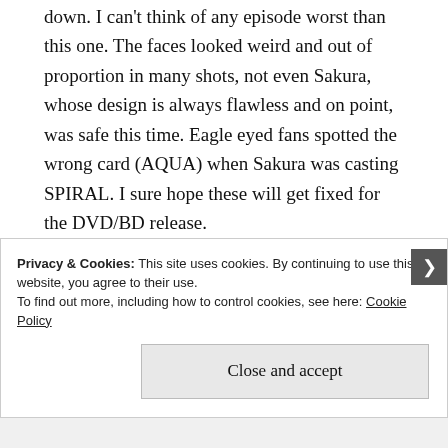down. I can't think of any episode worst than this one. The faces looked weird and out of proportion in many shots, not even Sakura, whose design is always flawless and on point, was safe this time. Eagle eyed fans spotted the wrong card (AQUA) when Sakura was casting SPIRAL. I sure hope these will get fixed for the DVD/BD release.
Next episode BLAZE will finally appear! Only 5 episodes left, guys.
Privacy & Cookies: This site uses cookies. By continuing to use this website, you agree to their use.
To find out more, including how to control cookies, see here: Cookie Policy